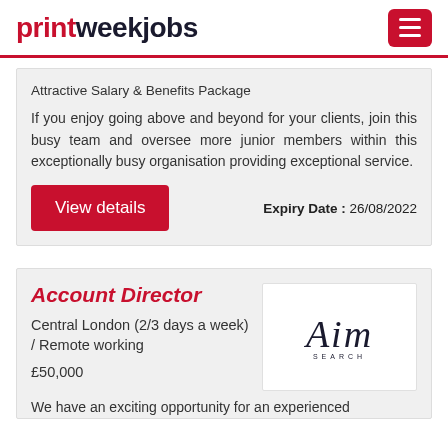printweekjobs
Attractive Salary & Benefits Package
If you enjoy going above and beyond for your clients, join this busy team and oversee more junior members within this exceptionally busy organisation providing exceptional service.
Expiry Date : 26/08/2022
Account Director
Central London (2/3 days a week) / Remote working
£50,000
[Figure (logo): Aim Search logo in italic serif font]
We have an exciting opportunity for an experienced